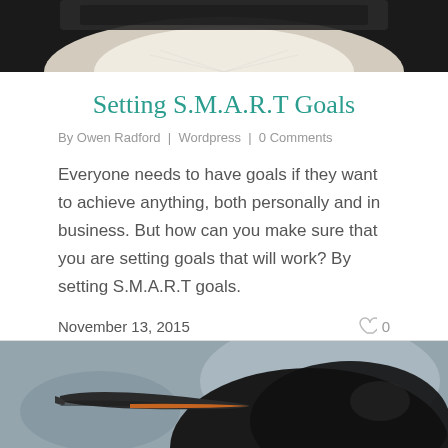[Figure (photo): Top portion of a photo showing an open book, cropped at top of page]
Setting S.M.A.R.T Goals
By Owen Radford | Wordpress | 0 Comments
Everyone needs to have goals if they want to achieve anything, both personally and in business. But how can you make sure that you are setting goals that will work? By setting S.M.A.R.T goals.
November 13, 2015
[Figure (photo): Close-up photo of a King penguin's beak and head, partially cropped at bottom of page]